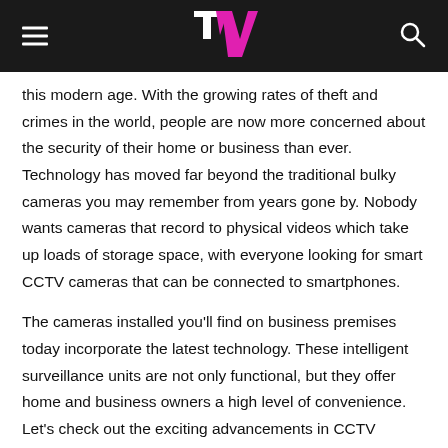TV logo with hamburger menu and search icon
this modern age. With the growing rates of theft and crimes in the world, people are now more concerned about the security of their home or business than ever. Technology has moved far beyond the traditional bulky cameras you may remember from years gone by. Nobody wants cameras that record to physical videos which take up loads of storage space, with everyone looking for smart CCTV cameras that can be connected to smartphones.
The cameras installed you'll find on business premises today incorporate the latest technology. These intelligent surveillance units are not only functional, but they offer home and business owners a high level of convenience. Let's check out the exciting advancements in CCTV technology that have made surveillance systems in 2021 better and safer than ever.
Remote Surveillance Systems